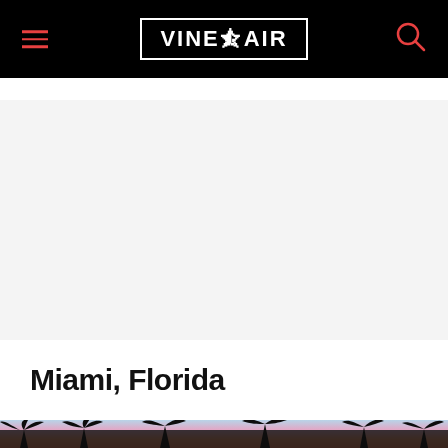VinePair
[Figure (other): Gray advertisement placeholder area]
Miami, Florida
[Figure (photo): Sunset photo with palm tree silhouettes and colorful pink and blue sky over Miami, Florida]